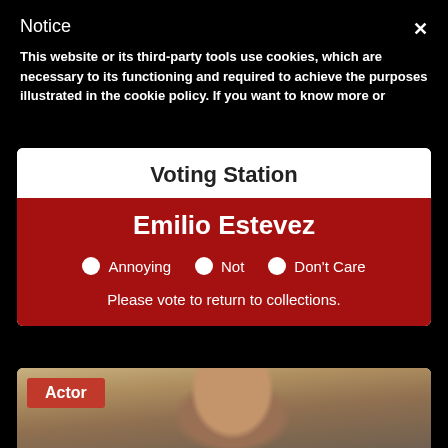Notice
This website or its third-party tools use cookies, which are necessary to its functioning and required to achieve the purposes illustrated in the cookie policy. If you want to know more or
Voting Station
Emilio Estevez
Annoying
Not
Don't Care
Please vote to return to collections.
[Figure (photo): Photo of Emilio Estevez, a man with curly dark hair, in a room with a lamp visible behind him]
Actor